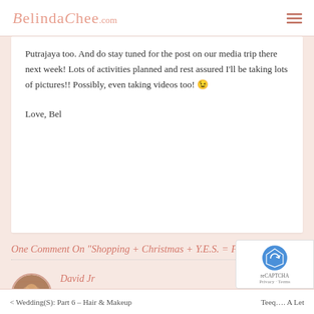BelindaChee.com
Putrajaya too. And do stay tuned for the post on our media trip there next week! Lots of activities planned and rest assured I’ll be taking lots of pictures!! Possibly, even taking videos too! 😉
Love, Bel
One Comment On “Shopping + Christmas + Y.E.S. = Free Holiday!!”
David Jr
December 9, 2009 at 12:44 am
Hello Belinda,
Great write there! You know, I might be going there to look at some TV’s with this crazy offer.
< Wedding(S): Part 6 – Hair & Makeup     Teeq…. A Let